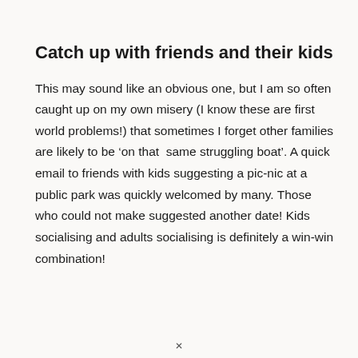Catch up with friends and their kids
This may sound like an obvious one, but I am so often caught up on my own misery (I know these are first world problems!) that sometimes I forget other families are likely to be ‘on that  same struggling boat’. A quick email to friends with kids suggesting a pic-nic at a public park was quickly welcomed by many. Those who could not make suggested another date! Kids socialising and adults socialising is definitely a win-win combination!